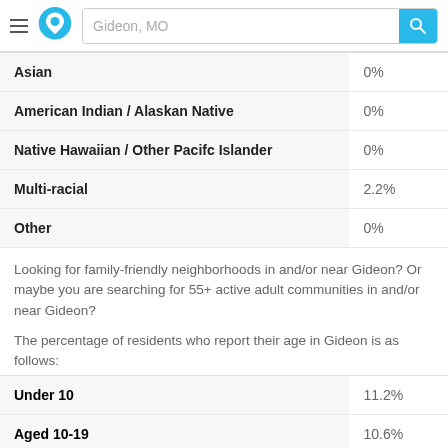Gideon, MO
| Race/Ethnicity | Percentage |
| --- | --- |
| Asian | 0% |
| American Indian / Alaskan Native | 0% |
| Native Hawaiian / Other Pacifc Islander | 0% |
| Multi-racial | 2.2% |
| Other | 0% |
Looking for family-friendly neighborhoods in and/or near Gideon? Or maybe you are searching for 55+ active adult communities in and/or near Gideon?
The percentage of residents who report their age in Gideon is as follows:
| Age Group | Percentage |
| --- | --- |
| Under 10 | 11.2% |
| Aged 10-19 | 10.6% |